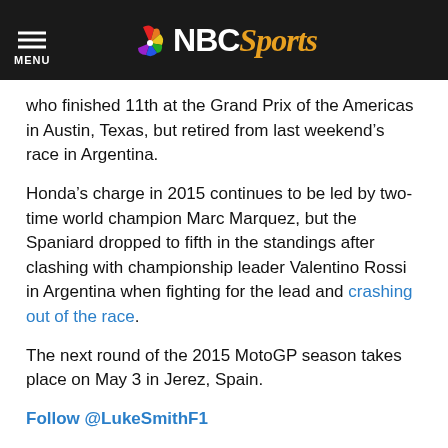NBC Sports
who finished 11th at the Grand Prix of the Americas in Austin, Texas, but retired from last weekend’s race in Argentina.
Honda’s charge in 2015 continues to be led by two-time world champion Marc Marquez, but the Spaniard dropped to fifth in the standings after clashing with championship leader Valentino Rossi in Argentina when fighting for the lead and crashing out of the race.
The next round of the 2015 MotoGP season takes place on May 3 in Jerez, Spain.
Follow @LukeSmithF1
Leave a comment